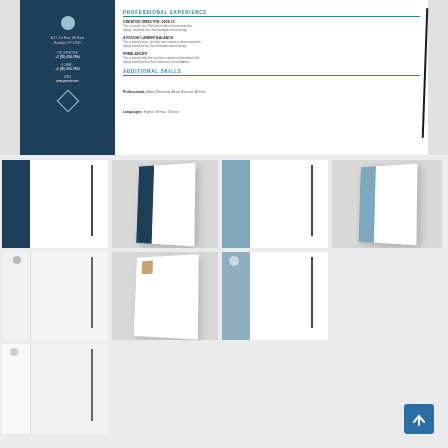[Figure (illustration): Large hero image of a professional resume template with dark navy sidebar on left showing contact info, and white main area on right showing Professional Experience and Additional Skills sections. A pencil is placed to the right of the resume on a light gray background.]
[Figure (illustration): Thumbnail of resume with dark navy sidebar, flat front-facing view with pencil]
[Figure (illustration): Thumbnail of resume in perspective/angled view with dark navy sidebar]
[Figure (illustration): Thumbnail of resume with light blue/steel sidebar, flat view with pencil]
[Figure (illustration): Thumbnail of resume with light blue sidebar, angled perspective view]
[Figure (illustration): Thumbnail of resume with white/minimal style, flat view with pencil]
[Figure (illustration): Thumbnail of resume with photo, angled perspective view]
[Figure (illustration): Thumbnail of resume with light steel sidebar, flat view with pencil]
[Figure (illustration): Thumbnail of resume minimal white, flat view with pencil]